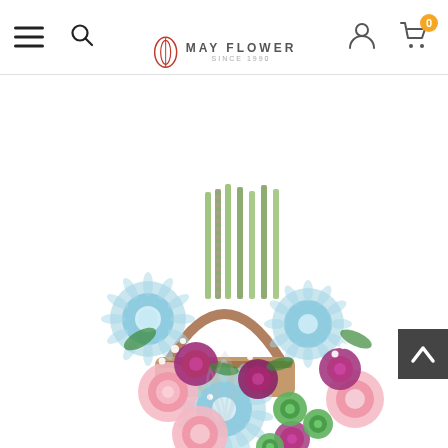May Flower — Fresh Flowers Guaranteed! Free Sh...
Fresh Flowers Guaranteed!
Free Sh
[Figure (photo): A colorful flower basket arrangement containing blue chrysanthemums, pink carnations, purple chrysanthemums, green button mums, and baby's breath, with a handle and a May Flower watermark overlay.]